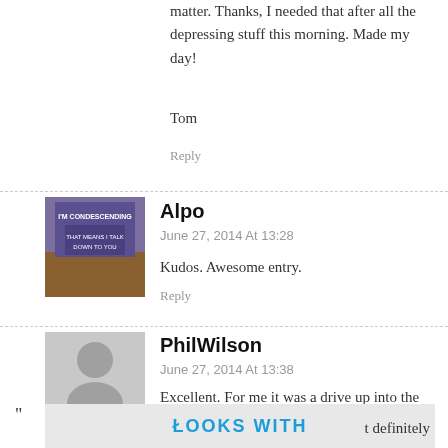matter. Thanks, I needed that after all the depressing stuff this morning. Made my day!
Tom
Reply
[Figure (photo): Avatar image of Alpo, a meme-style photo with text overlays reading 'I'M CONDESCENDING' and 'THAT MEANS I TALK DOWN TO YOU']
Alpo
June 27, 2014 At 13:28
Kudos. Awesome entry.
Reply
[Figure (illustration): Generic gray user avatar placeholder icon showing a silhouette of a head and shoulders]
PhilWilson
June 27, 2014 At 13:38
Excellent. For me it was a drive up into the hills to BLM land and either set up tin cans or pitch skeet. For my daughters it's a nice drive through farmlands
[Figure (screenshot): Advertisement overlay banner with text 'LOOKS WITH' in teal/blue bold letters on gray background]
t definitely